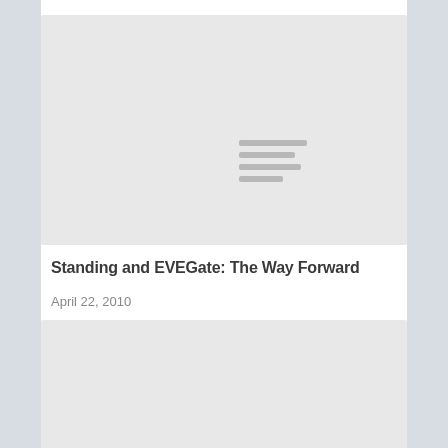[Figure (screenshot): Thumbnail placeholder image with loading lines indicator, light gray background]
Standing and EVEGate: The Way Forward
April 22, 2010
[Figure (screenshot): Second thumbnail placeholder image with loading lines indicator, light gray background]